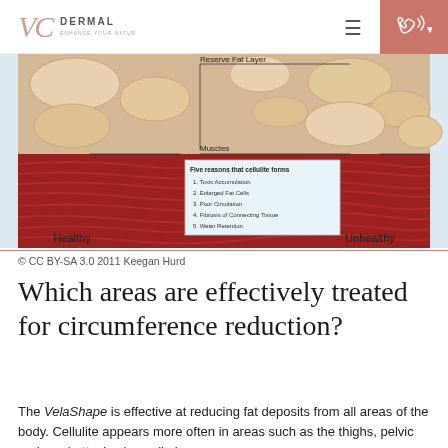VC Dermal — Enhance Your Natural Skin
[Figure (illustration): Medical diagram showing a cross-section of skin layers comparing Healthy vs Unhealthy tissue. Labels show Reserve Fat Layer and Muscles. A callout box lists Five reasons that cellulite forms: 1. Toxic Accumulation, 2. Enlarged Fat Cells, 3. Poor Circulation, 4. Fibrosis of Connecting Tissue, 5. Water Retention.]
© CC BY-SA 3.0 2011 Keegan Hurd
Which areas are effectively treated for circumference reduction?
The VelaShape is effective at reducing fat deposits from all areas of the body. Cellulite appears more often in areas such as the thighs, pelvic regions, buttocks, lower limbs and abdomen. At an initial consultation with us, we will…